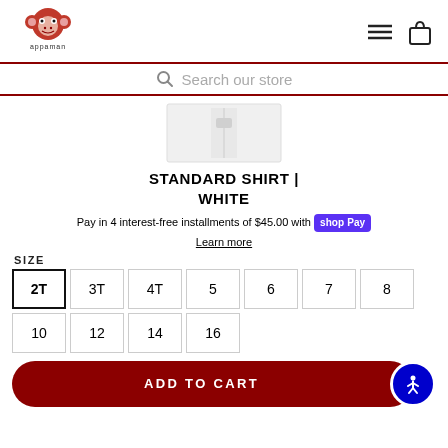appaman
Search our store
[Figure (photo): White standard shirt product image, folded, viewed from above]
STANDARD SHIRT | WHITE
Pay in 4 interest-free installments of $45.00 with shop Pay
Learn more
SIZE
2T 3T 4T 5 6 7 8 10 12 14 16
ADD TO CART